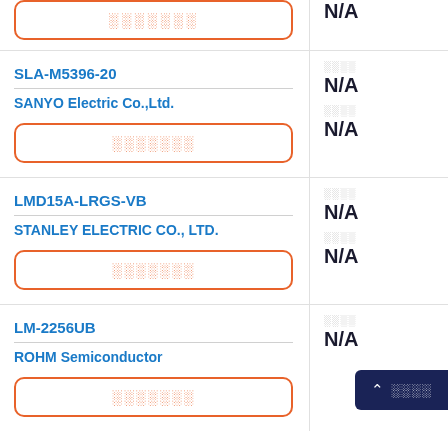| Part / Manufacturer / Action | Field 1 / Value | Field 2 / Value |
| --- | --- | --- |
| (button: ░░░░░░░) | N/A |  |
| SLA-M5396-20
SANYO Electric Co.,Ltd.
(button: ░░░░░░░) | ░░░░ N/A | ░░░░ N/A |
| LMD15A-LRGS-VB
STANLEY ELECTRIC CO., LTD.
(button: ░░░░░░░) | ░░░░ N/A | ░░░░ N/A |
| LM-2256UB
ROHM Semiconductor
(button: ░░░░░░░) | ░░░░ N/A |  |